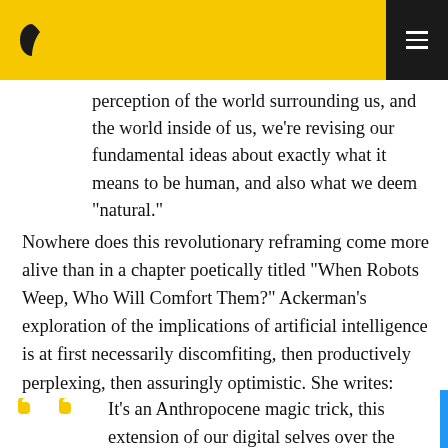perception of the world surrounding us, and the world inside of us, we're revising our fundamental ideas about exactly what it means to be human, and also what we deem “natural.”
Nowhere does this revolutionary reframing come more alive than in a chapter poetically titled “When Robots Weep, Who Will Comfort Them?” Ackerman’s exploration of the implications of artificial intelligence is at first necessarily discomfiting, then productively perplexing, then assuringly optimistic. She writes:
It’s an Anthropocene magic trick, this extension of our digital selves over the Internet, far enough to reach other people, animals, plants…